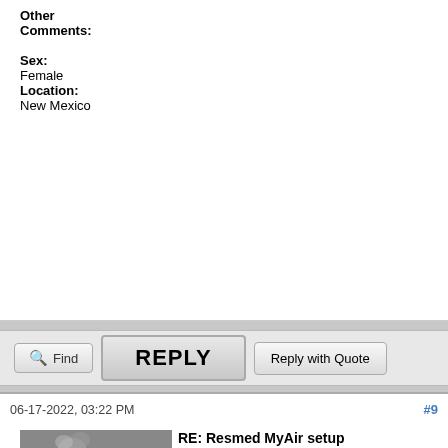Other Comments:

Sex:
Female
Location:
New Mexico
Find | REPLY | Reply with Quote
06-17-2022, 03:22 PM  #9
RE: Resmed MyAir setup
Thanks Red for the introduction to "PLUS". That will help.

Dave
DaveL
compliant for 35 years /// Still learning!

ResMed N20; ResMed P30i modified headgear; F&P
Posts: 2,051
Threads: 38
[Figure (photo): Black and white photo of a steam locomotive]